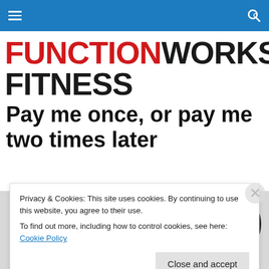FunctionWorks Fitness navigation bar
FUNCTIONWORKS FITNESS
Pay me once, or pay me two times later
[Figure (photo): Partial view of dumbbells/weight plates on a surface]
Privacy & Cookies: This site uses cookies. By continuing to use this website, you agree to their use.
To find out more, including how to control cookies, see here: Cookie Policy
Close and accept